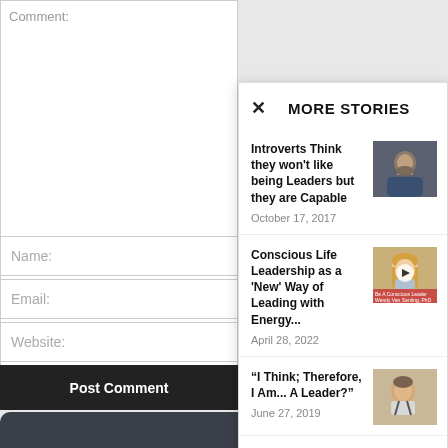Comment:
Name:
Email:
Website:
Post Comment
MORE STORIES
Introverts Think they won't like being Leaders but they are Capable
October 17, 2017
Conscious Life Leadership as a 'New' Way of Leading with Energy...
April 28, 2022
“I Think; Therefore, I Am... A Leader?”
June 27, 2019